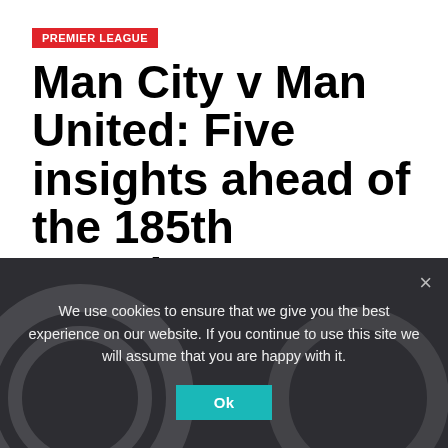PREMIER LEAGUE
Man City v Man United: Five insights ahead of the 185th Manchester derby
By Chris Darwen
MAR 7, 2021  MCIMUN
We use cookies to ensure that we give you the best experience on our website. If you continue to use this site we will assume that you are happy with it.